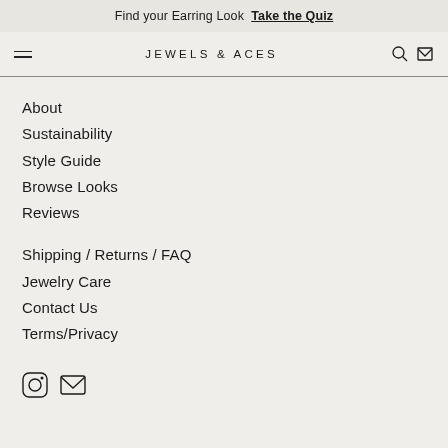Find your Earring Look  Take the Quiz
JEWELS & ACES
About
Sustainability
Style Guide
Browse Looks
Reviews
Shipping / Returns / FAQ
Jewelry Care
Contact Us
Terms/Privacy
[Figure (illustration): Instagram and email social media icons]